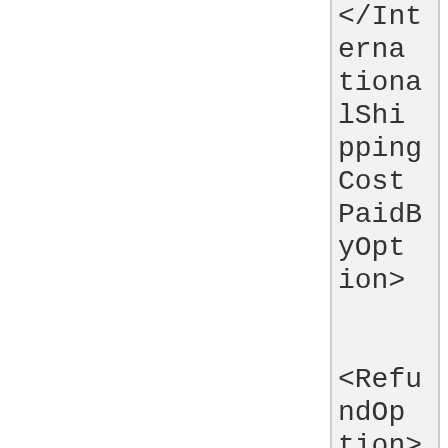</InternationalShippingCostPaidByOption>

<RefundOption>
token
</RefundOption>

<ReturnsAcceptedOption>
token
</ReturnsAcceptedOption>

<ReturnsWithinOption> token